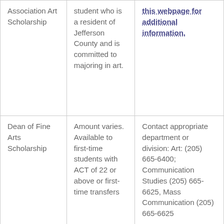| Association Art Scholarship | student who is a resident of Jefferson County and is committed to majoring in art. | this webpage for additional information. |
| Dean of Fine Arts Scholarship | Amount varies. Available to first-time students with ACT of 22 or above or first-time transfers | Contact appropriate department or division: Art: (205) 665-6400; Communication Studies (205) 665-6625, Mass Communication (205) 665-6625 |